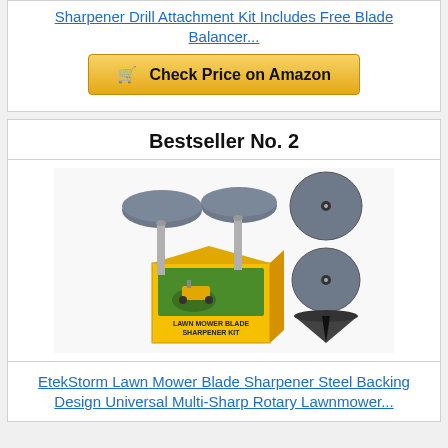Sharpener Drill Attachment Kit Includes Free Blade Balancer...
Check Price on Amazon
Bestseller No. 2
[Figure (photo): EtekStorm Lawn Mower Blade Sharpener Kit product photo showing two mushroom-shaped sharpening stones with drill shafts, two circular abrasive discs, a cone-shaped balancer, and the yellow product box labeled 'LAWN MOWER BLADE SHARPENER KIT']
EtekStorm Lawn Mower Blade Sharpener Steel Backing Design Universal Multi-Sharp Rotary Lawnmower...